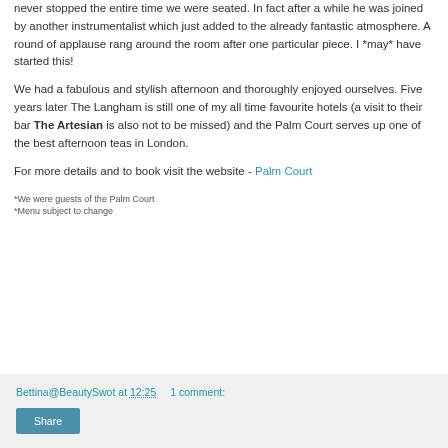never stopped the entire time we were seated. In fact after a while he was joined by another instrumentalist which just added to the already fantastic atmosphere. A round of applause rang around the room after one particular piece. I *may* have started this!
We had a fabulous and stylish afternoon and thoroughly enjoyed ourselves. Five years later The Langham is still one of my all time favourite hotels (a visit to their bar The Artesian is also not to be missed) and the Palm Court serves up one of the best afternoon teas in London.
For more details and to book visit the website - Palm Court
*We were guests of the Palm Court
*Menu subject to change
Bettina@BeautySwot at 12:25    1 comment: